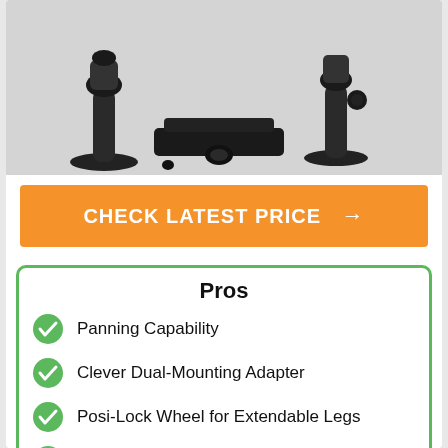[Figure (photo): Product photo showing black camera/device mounting hardware components including suction cup bases, adjustable arm mounts, and a flat mounting adapter plate on a white background]
CHECK LATEST PRICE →
Pros
Panning Capability
Clever Dual-Mounting Adapter
Posi-Lock Wheel for Extendable Legs
Easy to Install and Comfortable to Use